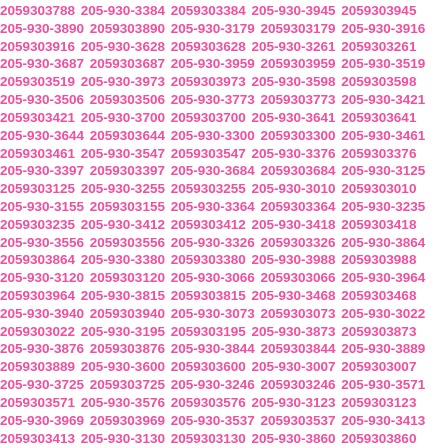2059303788 205-930-3384 2059303384 205-930-3945 2059303945 205-930-3890 2059303890 205-930-3179 2059303179 205-930-3916 2059303916 205-930-3628 2059303628 205-930-3261 2059303261 205-930-3687 2059303687 205-930-3959 2059303959 205-930-3519 2059303519 205-930-3973 2059303973 205-930-3598 2059303598 205-930-3506 2059303506 205-930-3773 2059303773 205-930-3421 2059303421 205-930-3700 2059303700 205-930-3641 2059303641 205-930-3644 2059303644 205-930-3300 2059303300 205-930-3461 2059303461 205-930-3547 2059303547 205-930-3376 2059303376 205-930-3397 2059303397 205-930-3684 2059303684 205-930-3125 2059303125 205-930-3255 2059303255 205-930-3010 2059303010 205-930-3155 2059303155 205-930-3364 2059303364 205-930-3235 2059303235 205-930-3412 2059303412 205-930-3418 2059303418 205-930-3556 2059303556 205-930-3326 2059303326 205-930-3864 2059303864 205-930-3380 2059303380 205-930-3988 2059303988 205-930-3120 2059303120 205-930-3066 2059303066 205-930-3964 2059303964 205-930-3815 2059303815 205-930-3468 2059303468 205-930-3940 2059303940 205-930-3073 2059303073 205-930-3022 2059303022 205-930-3195 2059303195 205-930-3873 2059303873 205-930-3876 2059303876 205-930-3844 2059303844 205-930-3889 2059303889 205-930-3600 2059303600 205-930-3007 2059303007 205-930-3725 2059303725 205-930-3246 2059303246 205-930-3571 2059303571 205-930-3576 2059303576 205-930-3123 2059303123 205-930-3969 2059303969 205-930-3537 2059303537 205-930-3413 2059303413 205-930-3130 2059303130 205-930-3860 2059303860